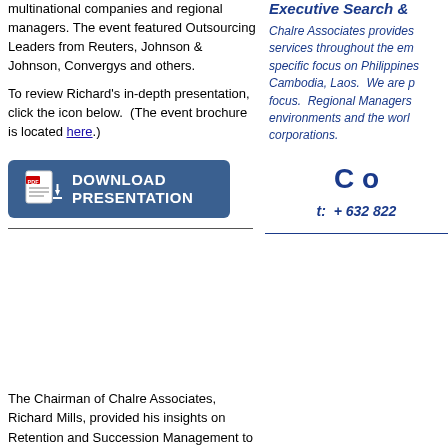multinational companies and regional managers. The event featured Outsourcing Leaders from Reuters, Johnson & Johnson, Convergys and others.
To review Richard's in-depth presentation, click the icon below. (The event brochure is located here.)
[Figure (illustration): Download Presentation button with PDF icon]
Executive Search &
Chalre Associates provides services throughout the emerging specific focus on Philippines, Cambodia, Laos. We are p focus. Regional Managers environments and the world corporations.
C o
t: + 632 822
The Chairman of Chalre Associates, Richard Mills, provided his insights on Retention and Succession Management to business leaders in the booming city of Kuala Lumpur in Malaysia.